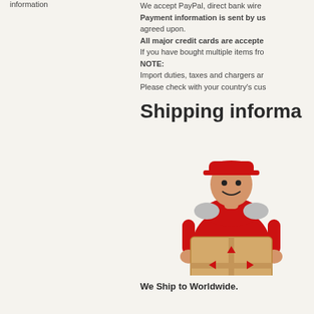information
We accept PayPal, direct bank wire...
Payment information is sent by us... agreed upon.
All major credit cards are accepted...
If you have bought multiple items fro...
NOTE:
Import duties, taxes and chargers ar...
Please check with your country's cus...
Shipping informa...
[Figure (photo): Delivery courier in red uniform holding a cardboard box with red arrows logo]
We Ship to Worldwide.